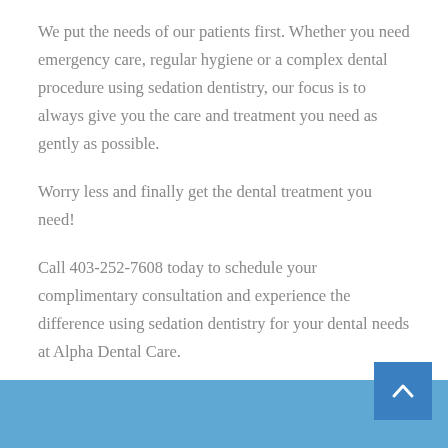We put the needs of our patients first. Whether you need emergency care, regular hygiene or a complex dental procedure using sedation dentistry, our focus is to always give you the care and treatment you need as gently as possible.
Worry less and finally get the dental treatment you need!
Call 403-252-7608 today to schedule your complimentary consultation and experience the difference using sedation dentistry for your dental needs at Alpha Dental Care.
[Figure (other): Blue footer bar with a darker blue back-to-top button containing an upward chevron arrow, and partial logo visible at bottom center]